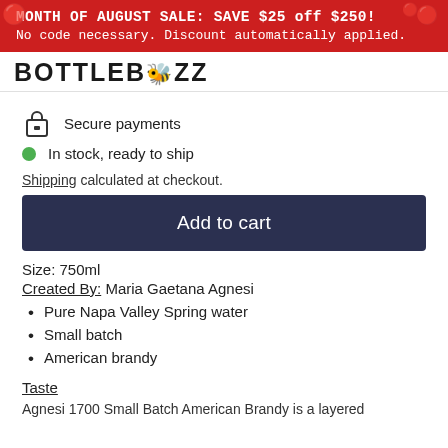MONTH OF AUGUST SALE: SAVE $25 off $250!
No code necessary. Discount automatically applied.
[Figure (logo): BOTTLEBUZZ logo in bold black uppercase letters on white background]
Secure payments
In stock, ready to ship
Shipping calculated at checkout.
Add to cart
Size: 750ml
Created By: Maria Gaetana Agnesi
Pure Napa Valley Spring water
Small batch
American brandy
Taste
Agnesi 1700 Small Batch American Brandy is a layered